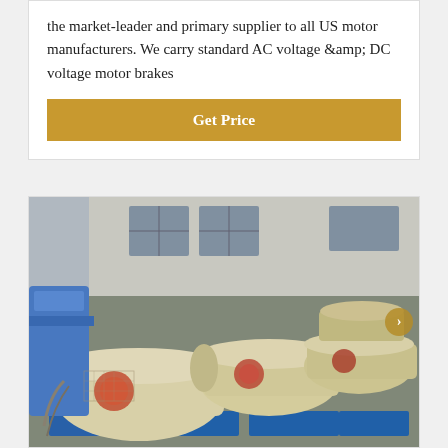the market-leader and primary supplier to all US motor manufacturers. We carry standard AC voltage &amp; DC voltage motor brakes
Get Price
[Figure (photo): Photograph of multiple cream/beige colored industrial motor brake machines lined up outdoors on blue stands/pallets, with a concrete building wall in the background.]